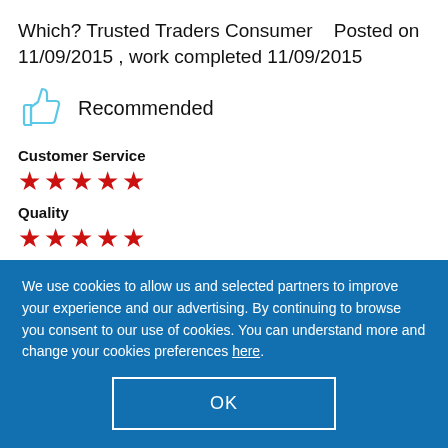Which? Trusted Traders Consumer    Posted on 11/09/2015 , work completed 11/09/2015
Recommended
Customer Service
★★★★★ (5 stars)
Quality
★★★★★ (5 stars)
We use cookies to allow us and selected partners to improve your experience and our advertising. By continuing to browse you consent to our use of cookies. You can understand more and change your cookies preferences here.
OK